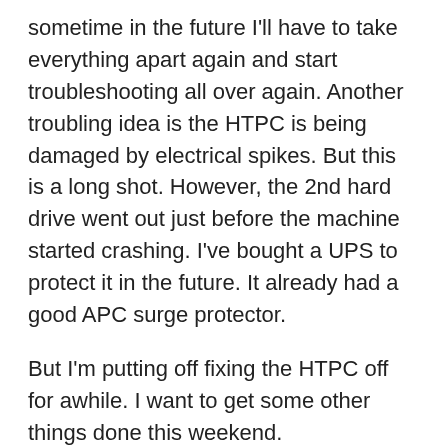sometime in the future I'll have to take everything apart again and start troubleshooting all over again. Another troubling idea is the HTPC is being damaged by electrical spikes.  But this is a long shot.  However, the 2nd hard drive went out just before the machine started crashing.  I've bought a UPS to protect it in the future.  It already had a good APC surge protector.
But I'm putting off fixing the HTPC off for awhile.  I want to get some other things done this weekend.
This is a real lesson in building your own computers.  Normally you buy a computer and it comes with a 1 year warranty.  You can even buy extended warranties.  If something goes wrong you take it back and someone else fixes the machine or gives you